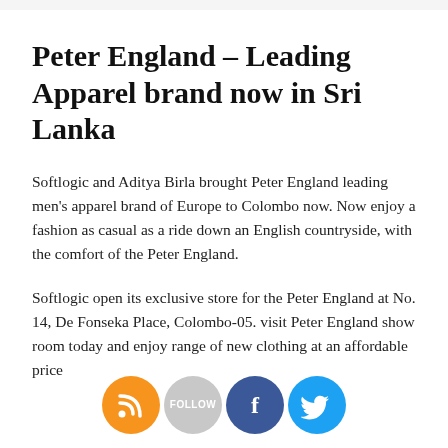Peter England – Leading Apparel brand now in Sri Lanka
Softlogic and Aditya Birla brought Peter England leading men's apparel brand of Europe to Colombo now. Now enjoy a fashion as casual as a ride down an English countryside, with the comfort of the Peter England.
Softlogic open its exclusive store for the Peter England at No. 14, De Fonseka Place, Colombo-05. visit Peter England show room today and enjoy range of new clothing at an affordable price
[Figure (infographic): Social media icons: RSS feed (orange), Follow (grey), Facebook (blue), Twitter (blue)]
for more details about the availability and